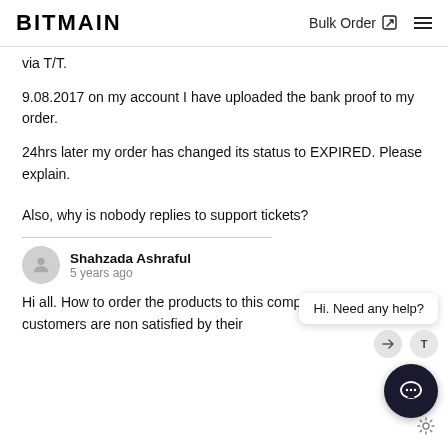BITMAIN | Bulk Order
via T/T.
9.08.2017 on my account I have uploaded the bank proof to my order.
24hrs later my order has changed its status to EXPIRED. Please explain.
Also, why is nobody replies to support tickets?
Shahzada Ashraful
5 years ago
Hi all. How to order the products to this company, when all the customers are non satisfied by their